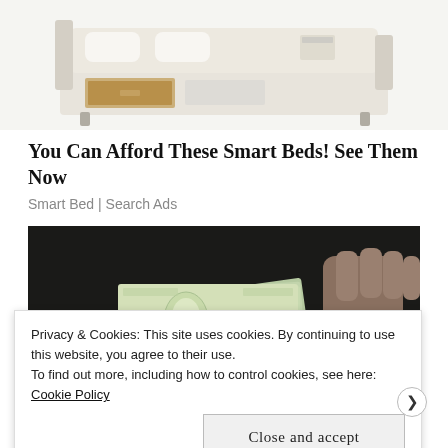[Figure (photo): A beige/cream colored smart bed with storage drawers open underneath, showing the bed's hidden storage compartments]
You Can Afford These Smart Beds! See Them Now
Smart Bed | Search Ads
[Figure (photo): Hands holding a fan of US $100 bills against a dark background]
Privacy & Cookies: This site uses cookies. By continuing to use this website, you agree to their use.
To find out more, including how to control cookies, see here: Cookie Policy
Close and accept